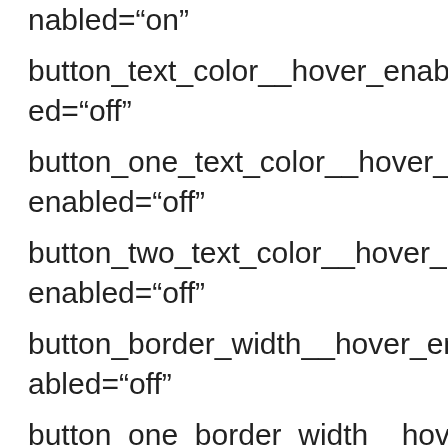nabled="on"
button_text_color__hover_enabled="off"
button_one_text_color__hover_enabled="off"
button_two_text_color__hover_enabled="off"
button_border_width__hover_enabled="off"
button_one_border_width__hover_enabled="off"
button_two_border_width_h